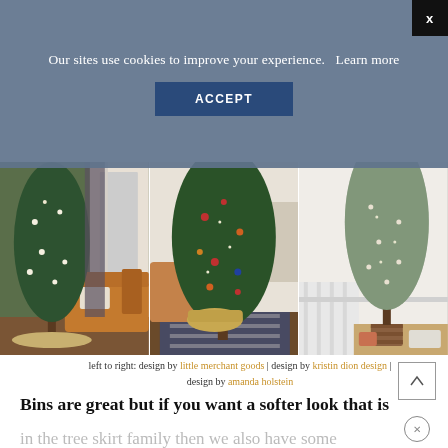Our sites use cookies to improve your experience.   Learn more
ACCEPT
[Figure (photo): Three side-by-side photos of decorated Christmas trees in home interiors. Left: slim tree with white ornaments and a woven base skirt in a room with a leather sofa. Middle: tall full tree with colorful ornaments on a patterned rug. Right: frosted tree with light ornaments in a white room.]
left to right: design by little merchant goods | design by kristin dion design | design by amanda holstein
Bins are great but if you want a softer look that is
in the tree skirt family then we also have some great ideas. Both Arlyn and I love love the thick